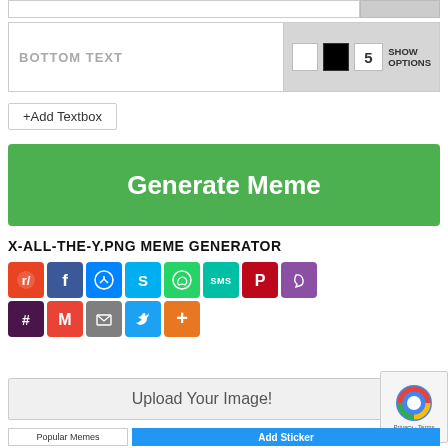[Figure (screenshot): Web form input row at top, partially visible]
BOTTOM TEXT
5
SHOW OPTIONS
+Add Textbox
Generate Meme
X-ALL-THE-Y.PNG MEME GENERATOR
[Figure (infographic): Social media sharing icons: Reddit, Facebook, Messenger, Skype, WhatsApp, SMS, Pinterest, Viber, Slack, Gmail, Email, Twitter, More]
Upload Your Image!
Privacy - Terms
Popular Memes
Add Sticker